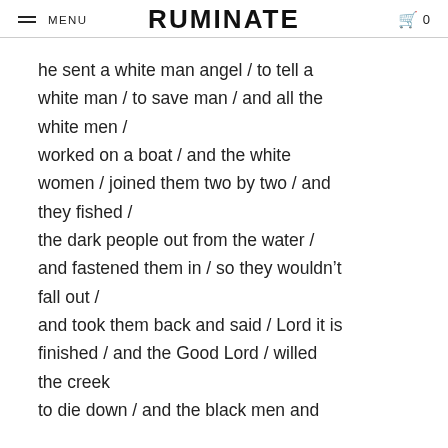MENU  RUMINATE  0
he sent a white man angel / to tell a white man / to save man / and all the white men /
worked on a boat / and the white women / joined them two by two / and they fished /
the dark people out from the water / and fastened them in / so they wouldn't fall out /
and took them back and said / Lord it is finished / and the Good Lord / willed the creek
to die down / and the black men and